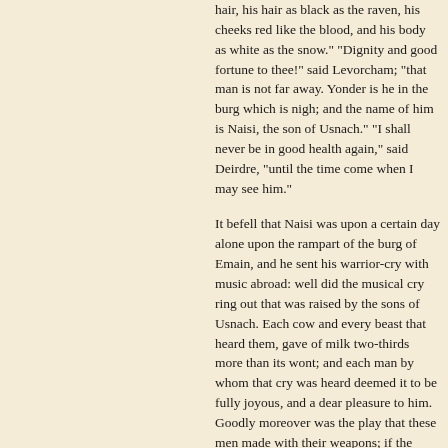hair, his hair as black as the raven, his cheeks red like the blood, and his body as white as the snow." "Dignity and good fortune to thee!" said Levorcham; "that man is not far away. Yonder is he in the burg which is nigh; and the name of him is Naisi, the son of Usnach." "I shall never be in good health again," said Deirdre, "until the time come when I may see him."
It befell that Naisi was upon a certain day alone upon the rampart of the burg of Emain, and he sent his warrior-cry with music abroad: well did the musical cry ring out that was raised by the sons of Usnach. Each cow and every beast that heard them, gave of milk two-thirds more than its wont; and each man by whom that cry was heard deemed it to be fully joyous, and a dear pleasure to him. Goodly moreover was the play that these men made with their weapons; if the whole province of Ulster had been assembled together against them in one place, and they